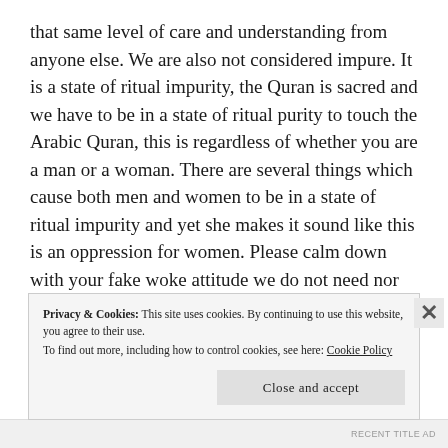that same level of care and understanding from anyone else. We are also not considered impure. It is a state of ritual impurity, the Quran is sacred and we have to be in a state of ritual purity to touch the Arabic Quran, this is regardless of whether you are a man or a woman. There are several things which cause both men and women to be in a state of ritual impurity and yet she makes it sound like this is an oppression for women. Please calm down with your fake woke attitude we do not need nor want to be ‘saved’ by you. Throughout the book in fact she only ever mentions religion in a negative way, the same goes for any mentions of cultural practices different to her own or
Privacy & Cookies: This site uses cookies. By continuing to use this website, you agree to their use. To find out more, including how to control cookies, see here: Cookie Policy
Close and accept